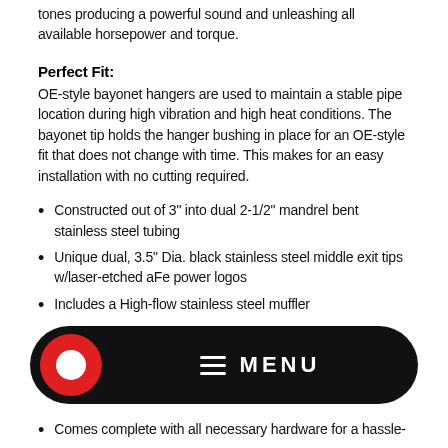tones producing a powerful sound and unleashing all available horsepower and torque.
Perfect Fit:
OE-style bayonet hangers are used to maintain a stable pipe location during high vibration and high heat conditions. The bayonet tip holds the hanger bushing in place for an OE-style fit that does not change with time. This makes for an easy installation with no cutting required.
Constructed out of 3" into dual 2-1/2" mandrel bent stainless steel tubing
Unique dual, 3.5" Dia. black stainless steel middle exit tips w/laser-etched aFe power logos
Includes a High-flow stainless steel muffler
[Figure (screenshot): Black rounded rectangle menu bar with red circle icon on left and hamburger menu lines with MENU text in white]
Comes complete with all necessary hardware for a hassle-